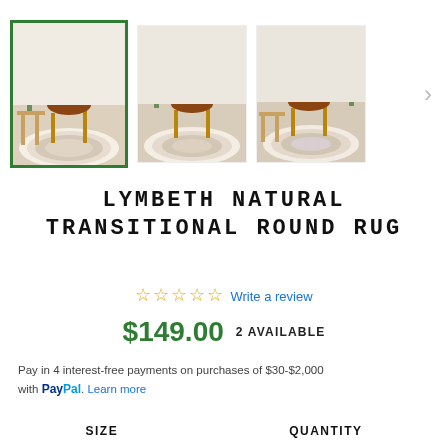[Figure (photo): Three thumbnail images of a round transitional rug in a room setting with a brown leather chair, first image selected with green border. Navigation arrow on right.]
LYMBETH NATURAL TRANSITIONAL ROUND RUG
☆☆☆☆☆ Write a review
$149.00  2 AVAILABLE
Pay in 4 interest-free payments on purchases of $30-$2,000 with PayPal. Learn more
SIZE     QUANTITY